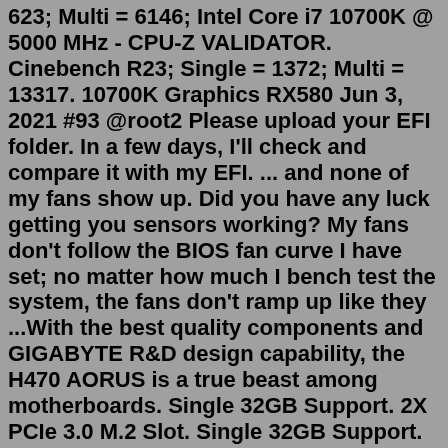623; Multi = 6146; Intel Core i7 10700K @ 5000 MHz - CPU-Z VALIDATOR. Cinebench R23; Single = 1372; Multi = 13317. 10700K Graphics RX580 Jun 3, 2021 #93 @root2 Please upload your EFI folder. In a few days, I'll check and compare it with my EFI. ... and none of my fans show up. Did you have any luck getting you sensors working? My fans don't follow the BIOS fan curve I have set; no matter how much I bench test the system, the fans don't ramp up like they ...With the best quality components and GIGABYTE R&D design capability, the H470 AORUS is a true beast among motherboards. Single 32GB Support. 2X PCIe 3.0 M.2 Slot. Single 32GB Support. With populated 1 DIMMs per channel on H470I AORUS PRO AX motherboard, the maximum memory capacity support is 64GB.I'm having similar problems with an rtx 2070 super and was gonna try your fan curve. Cheers:) Hey steve, I am using the Thermaltake V200 case and it has 3 intake, 3 exhaust fans, (it had 1 exhaust in the back, i added two. 1920x1080, 2560x1440, 3840x2160. The GeForce RTX